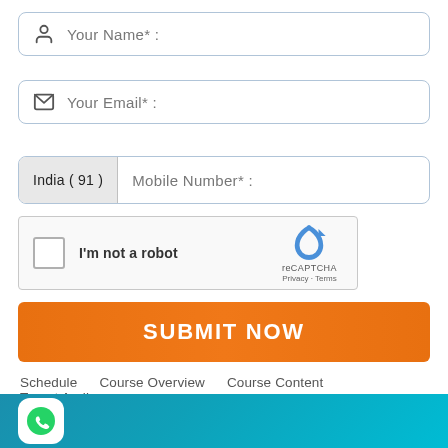[Figure (screenshot): Web form with name, email, mobile number fields, reCAPTCHA, and submit button]
Your Name* :
Your Email* :
India ( 91 )  Mobile Number* :
I'm not a robot
reCAPTCHA
Privacy · Terms
SUBMIT NOW
Schedule
Course Overview
Course Content
Target Audience
Certificate
FAQs